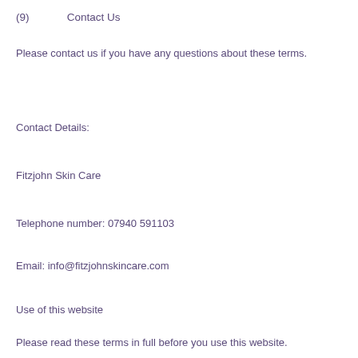(9)        Contact Us
Please contact us if you have any questions about these terms.
Contact Details:
Fitzjohn Skin Care
Telephone number:  07940 591103
Email:  info@fitzjohnskincare.com
Use of this website
Please read these terms in full before you use this website.